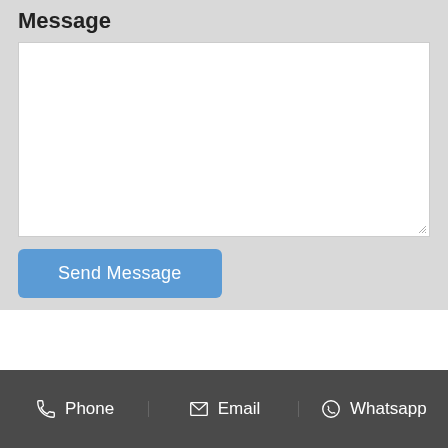Message
[Figure (screenshot): Text area input box (white, empty) with resize handle at bottom-right corner]
[Figure (screenshot): Blue 'Send Message' button with rounded corners]
Phone | Email | Whatsapp